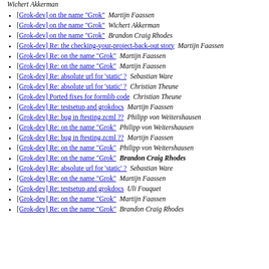[Grok-dev] on the name "Grok"  Martijn Faassen
[Grok-dev] on the name "Grok"  Wichert Akkerman
[Grok-dev] on the name "Grok"  Brandon Craig Rhodes
[Grok-dev] Re: the checking-your-project-back-out story  Martijn Faassen
[Grok-dev] Re: on the name "Grok"  Martijn Faassen
[Grok-dev] Re: on the name "Grok"  Martijn Faassen
[Grok-dev] Re: absolute url for 'static' ?  Sebastian Ware
[Grok-dev] Re: absolute url for 'static' ?  Christian Theune
[Grok-dev] Ported fixes for formlib code  Christian Theune
[Grok-dev] Re: testsetup and grokdocs  Martijn Faassen
[Grok-dev] Re: bug in ftesting.zcml ??  Philipp von Weitershausen
[Grok-dev] Re: on the name "Grok"  Philipp von Weitershausen
[Grok-dev] Re: bug in ftesting.zcml ??  Martijn Faassen
[Grok-dev] Re: on the name "Grok"  Philipp von Weitershausen
[Grok-dev] Re: on the name "Grok"  Brandon Craig Rhodes
[Grok-dev] Re: absolute url for 'static' ?  Sebastian Ware
[Grok-dev] Re: on the name "Grok"  Martijn Faassen
[Grok-dev] Re: testsetup and grokdocs  Uli Fouquet
[Grok-dev] Re: on the name "Grok"  Martijn Faassen
[Grok-dev] Re: on the name "Grok"  Brandon Craig Rhodes